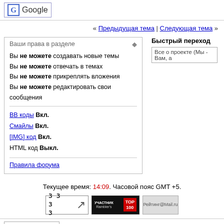[Figure (logo): Google logo with G icon in blue border]
« Предыдущая тема | Следующая тема »
Ваши права в разделе
Вы не можете создавать новые темы
Вы не можете отвечать в темах
Вы не можете прикреплять вложения
Вы не можете редактировать свои сообщения
BB коды Вкл.
Смайлы Вкл.
[IMG] код Вкл.
HTML код Выкл.
Правила форума
Быстрый переход
Текущее время: 14:09. Часовой пояс GMT +5.
[Figure (logo): Rambler counter badge with arrows]
[Figure (logo): Rambler Top 100 badge]
[Figure (logo): Рейтинг@Mail.ru badge]
-- Russian (RU)
Обратная связь - Портал Web Brothe
Powered by vBulletin® Version 3.8.7
Copyright ©2000-2024, Jelsoft Enterprises Ltd. Перевод: zCarro
© 2004—2011 гг. Web Brothres & Company.